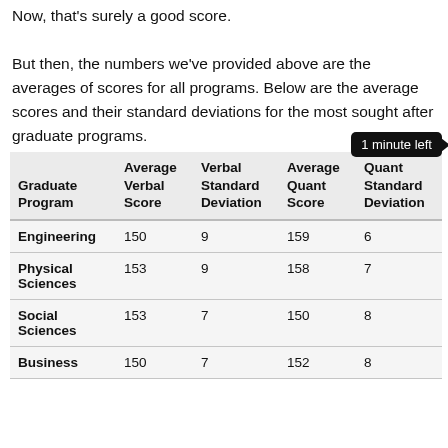Now, that's surely a good score. But then, the numbers we've provided above are the averages of scores for all programs. Below are the average scores and their standard deviations for the most sought after graduate programs.
| Graduate Program | Average Verbal Score | Verbal Standard Deviation | Average Quant Score | Quant Standard Deviation |
| --- | --- | --- | --- | --- |
| Engineering | 150 | 9 | 159 | 6 |
| Physical Sciences | 153 | 9 | 158 | 7 |
| Social Sciences | 153 | 7 | 150 | 8 |
| Business | 150 | 7 | 152 | 8 |